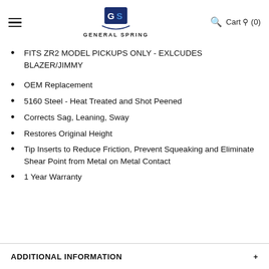General Spring — Cart (0)
FITS ZR2 MODEL PICKUPS ONLY - EXLCUDES BLAZER/JIMMY
OEM Replacement
5160 Steel - Heat Treated and Shot Peened
Corrects Sag, Leaning, Sway
Restores Original Height
Tip Inserts to Reduce Friction, Prevent Squeaking and Eliminate Shear Point from Metal on Metal Contact
1 Year Warranty
ADDITIONAL INFORMATION